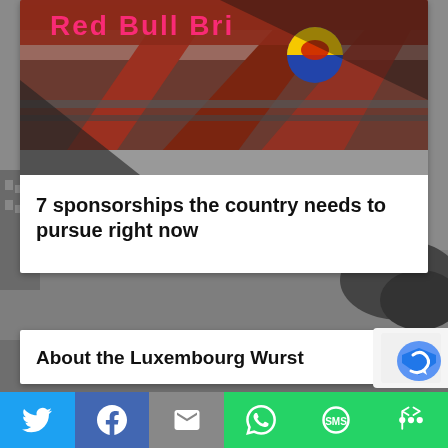[Figure (photo): Photo of the Red Bull Bridge structure, showing red steel bridge girders with 'Red Bull Bridge' signage and Red Bull logo (bull silhouette with yellow/blue circle)]
7 sponsorships the country needs to pursue right now
[Figure (photo): Grayscale photo of an urban scene, buildings and trees visible in background]
About the Luxembourg Wurst
[Figure (other): Share bar with social media buttons: Twitter (blue bird), Facebook (white f on blue), Email (envelope on grey), WhatsApp (phone icon on green), SMS (green), More/share (green)]